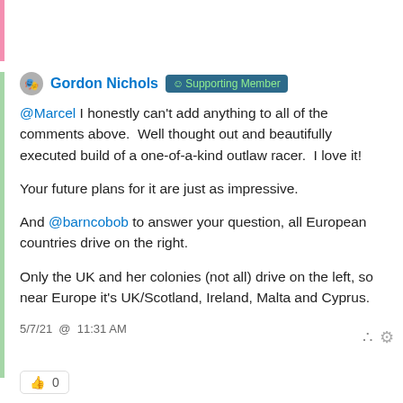Gordon Nichols @Supporting Member
@Marcel I honestly can't add anything to all of the comments above.  Well thought out and beautifully executed build of a one-of-a-kind outlaw racer.  I love it!

Your future plans for it are just as impressive.

And @barncobob to answer your question, all European countries drive on the right.

Only the UK and her colonies (not all) drive on the left, so near Europe it's UK/Scotland, Ireland, Malta and Cyprus.
5/7/21  @  11:31 AM